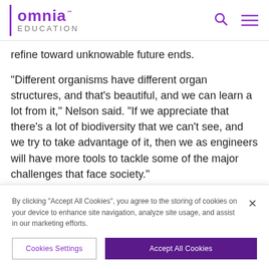omnia EDUCATION
refine toward unknowable future ends.
"Different organisms have different organ structures, and that's beautiful, and we can learn a lot from it," Nelson said. "If we appreciate that there's a lot of biodiversity that we can't see, and we try to take advantage of it, then we as engineers will have more tools to tackle some of the major challenges that face society."
The pom...
By clicking "Accept All Cookies", you agree to the storing of cookies on your device to enhance site navigation, analyze site usage, and assist in our marketing efforts.
Cookies Settings
Accept All Cookies